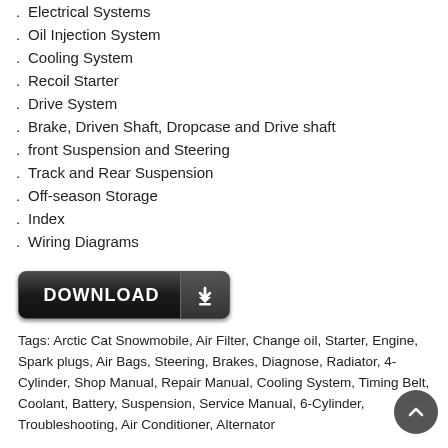Electrical Systems
Oil Injection System
Cooling System
Recoil Starter
Drive System
Brake, Driven Shaft, Dropcase and Drive shaft
front Suspension and Steering
Track and Rear Suspension
Off-season Storage
Index
Wiring Diagrams
[Figure (other): DOWNLOAD button with dark background and download arrow icon]
Tags: Arctic Cat Snowmobile, Air Filter, Change oil, Starter, Engine, Spark plugs, Air Bags, Steering, Brakes, Diagnose, Radiator, 4-Cylinder, Shop Manual, Repair Manual, Cooling System, Timing Belt, Coolant, Battery, Suspension, Service Manual, 6-Cylinder, Troubleshooting, Air Conditioner, Alternator